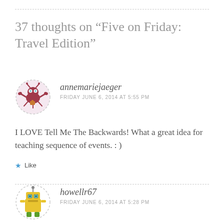37 thoughts on “Five on Friday: Travel Edition”
[Figure (illustration): Round avatar with dashed border showing a cartoon crab/bug character on light pink background]
annemariejaeger
FRIDAY JUNE 6, 2014 AT 5:55 PM
I LOVE Tell Me The Backwards! What a great idea for teaching sequence of events. : )
Like
[Figure (illustration): Round avatar with dashed border showing a cartoon yellow robot character on white background]
howellr67
FRIDAY JUNE 6, 2014 AT 5:28 PM